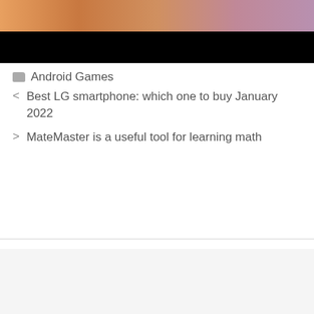[Figure (photo): Top portion of a webpage screenshot showing a colorful image at top and a black bar below it]
Android Games
< Best LG smartphone: which one to buy January 2022
> MateMaster is a useful tool for learning math
Leave a Comment